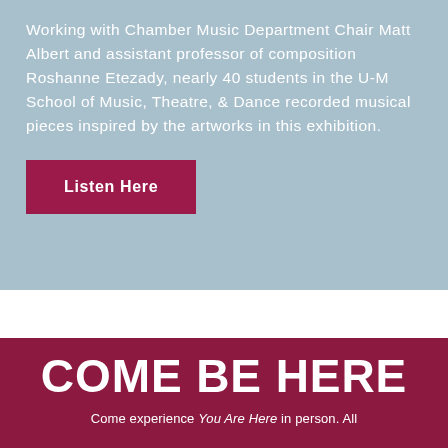Working with Chamber Music Department Chair Matt Albert and assistant professor of composition Roshanne Etezady, nearly 40 students in the U-M School of Music, Theatre, & Dance recorded musical pieces inspired by the artworks in this exhibition.
Listen Here
COME BE HERE
Come experience You Are Here in person. All